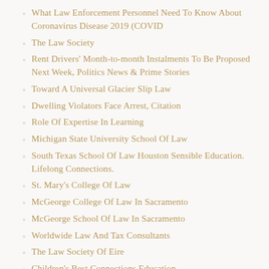What Law Enforcement Personnel Need To Know About Coronavirus Disease 2019 (COVID
The Law Society
Rent Drivers' Month-to-month Instalments To Be Proposed Next Week, Politics News & Prime Stories
Toward A Universal Glacier Slip Law
Dwelling Violators Face Arrest, Citation
Role Of Expertise In Learning
Michigan State University School Of Law
South Texas School Of Law Houston Sensible Education. Lifelong Connections.
St. Mary's College Of Law
McGeorge College Of Law In Sacramento
McGeorge School Of Law In Sacramento
Worldwide Law And Tax Consultants
The Law Society Of Eire
Children's Best Connections Education...